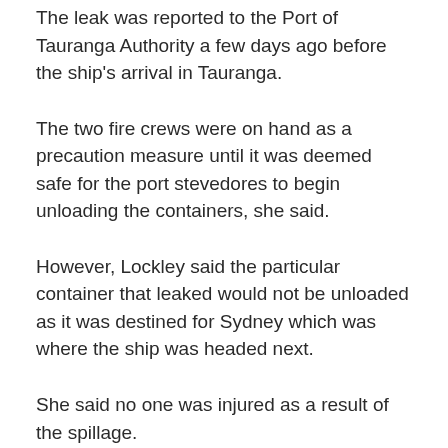The leak was reported to the Port of Tauranga Authority a few days ago before the ship's arrival in Tauranga.
The two fire crews were on hand as a precaution measure until it was deemed safe for the port stevedores to begin unloading the containers, she said.
However, Lockley said the particular container that leaked would not be unloaded as it was destined for Sydney which was where the ship was headed next.
She said no one was injured as a result of the spillage.